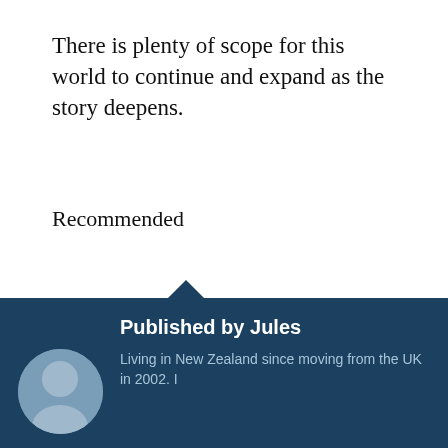There is plenty of scope for this world to continue and expand as the story deepens.
Recommended
Sharing is Caring
[Figure (other): Social sharing buttons: Tweet (blue), Save (red Pinterest), WhatsApp (white outline)]
[Figure (other): Like button with star icon]
Be the first to like this.
Published by Jules
Living in New Zealand since moving from the UK in 2002. I